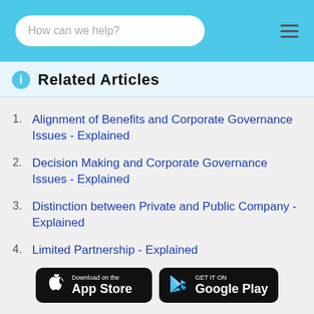How can we help?
Related Articles
Alignment of Benefits and Corporate Governance Issues - Explained
Decision Making and Corporate Governance Issues - Explained
Distinction between Private and Public Company - Explained
Limited Partnership - Explained
[Figure (other): Download on the App Store and Get it on Google Play buttons]